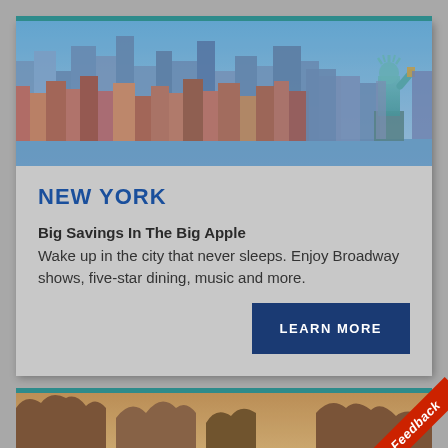[Figure (photo): New York City skyline with skyscrapers and the Statue of Liberty on the right side, against a blue sky]
NEW YORK
Big Savings In The Big Apple
Wake up in the city that never sleeps. Enjoy Broadway shows, five-star dining, music and more.
LEARN MORE
[Figure (photo): Desert rock formations/mountains with warm orange-brown tones against a sky background]